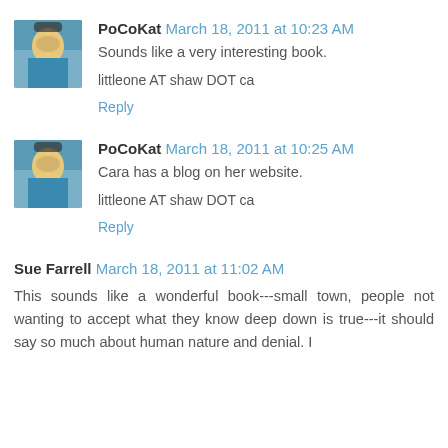PoCoKat March 18, 2011 at 10:23 AM
Sounds like a very interesting book.
littleone AT shaw DOT ca
Reply
PoCoKat March 18, 2011 at 10:25 AM
Cara has a blog on her website.
littleone AT shaw DOT ca
Reply
Sue Farrell March 18, 2011 at 11:02 AM
This sounds like a wonderful book---small town, people not wanting to accept what they know deep down is true---it should say so much about human nature and denial. I